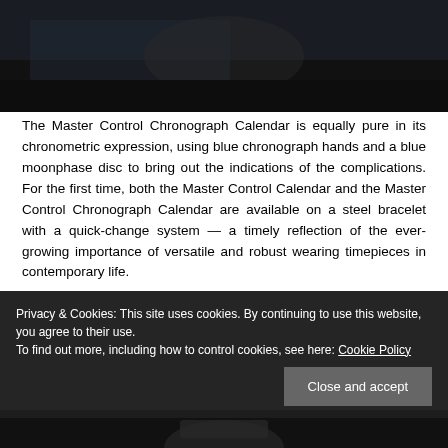[Figure (photo): Dark photograph, partially visible at top of page, showing a watch or related subject against a dark background.]
The Master Control Chronograph Calendar is equally pure in its chronometric expression, using blue chronograph hands and a blue moonphase disc to bring out the indications of the complications. For the first time, both the Master Control Calendar and the Master Control Chronograph Calendar are available on a steel bracelet with a quick-change system — a timely reflection of the ever-growing importance of versatile and robust wearing timepieces in contemporary life.
Privacy & Cookies: This site uses cookies. By continuing to use this website, you agree to their use.
To find out more, including how to control cookies, see here: Cookie Policy
Close and accept
[Figure (photo): Dark photograph of a watch, partially visible at the bottom of the page.]